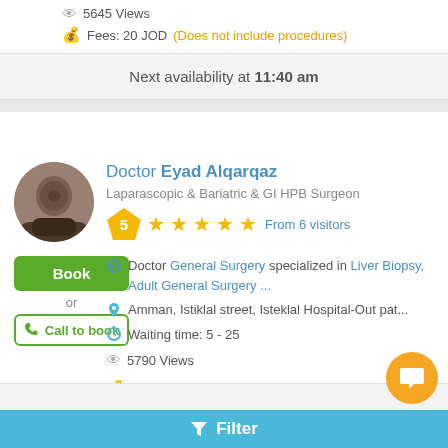5645 Views
Fees: 20 JOD (Does not include procedures)
Next availability at 11:40 am
Doctor Eyad Alqarqaz
Laparascopic & Bariatric & GI HPB Surgeon
5 From 6 visitors
Doctor General Surgery specialized in Liver Biopsy, Adult General Surgery ...
Amman, Istiklal street, Isteklal Hospital-Out pat...
Waiting time: 5 - 25
5790 Views
Fees: 25 JOD (Does not include procedures)
Filter